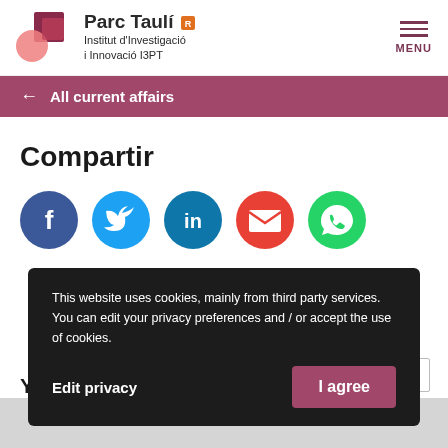[Figure (logo): Parc Taulí Institut d'Investigació i Innovació I3PT logo with pink/maroon geometric shapes]
MENU
← All current affairs
Compartir
[Figure (infographic): Social media share icons: Facebook (blue), Twitter (light blue), LinkedIn (dark blue), Email (red), WhatsApp (green)]
This website uses cookies, mainly from third party services. You can edit your privacy preferences and / or accept the use of cookies.
Edit privacy
I agree
You might also be interested